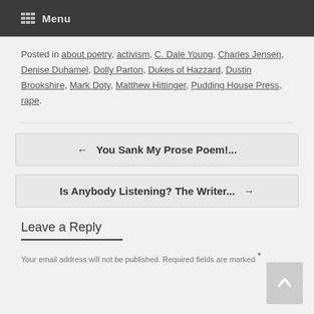Menu
Posted in about poetry, activism, C. Dale Young, Charles Jensen, Denise Duhamel, Dolly Parton, Dukes of Hazzard, Dustin Brookshire, Mark Doty, Matthew Hittinger, Pudding House Press, rape.
← You Sank My Prose Poem!...
Is Anybody Listening? The Writer... →
Leave a Reply
Your email address will not be published. Required fields are marked *